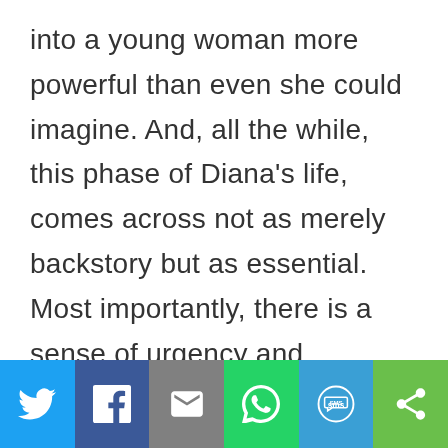into a young woman more powerful than even she could imagine. And, all the while, this phase of Diana's life, comes across not as merely backstory but as essential. Most importantly, there is a sense of urgency and suspense. In a different
[Figure (other): Social media share bar with icons for Twitter, Facebook, Email, WhatsApp, SMS, and More (share)]